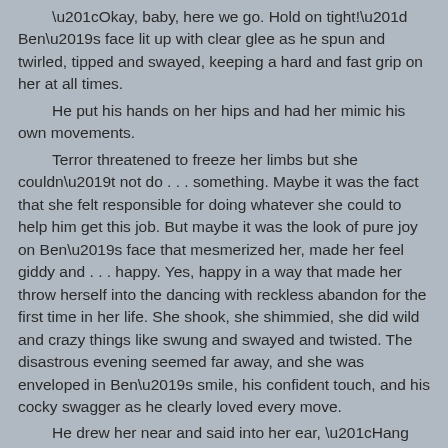“Okay, baby, here we go. Hold on tight!” Ben’s face lit up with clear glee as he spun and twirled, tipped and swayed, keeping a hard and fast grip on her at all times.
 He put his hands on her hips and had her mimic his own movements.
 Terror threatened to freeze her limbs but she couldn’t not do . . . something. Maybe it was the fact that she felt responsible for doing whatever she could to help him get this job. But maybe it was the look of pure joy on Ben’s face that mesmerized her, made her feel giddy and . . . happy. Yes, happy in a way that made her throw herself into the dancing with reckless abandon for the first time in her life. She shook, she shimmied, she did wild and crazy things like swung and swayed and twisted. The disastrous evening seemed far away, and she was enveloped in Ben’s smile, his confident touch, and his cocky swagger as he clearly loved every move.
 He drew her near and said into her ear, “Hang on for the finale, sweetheart.” Before she could respond, he pushed her until she flew away from him, then when their arms were fully outstretched and they were holding on only by their